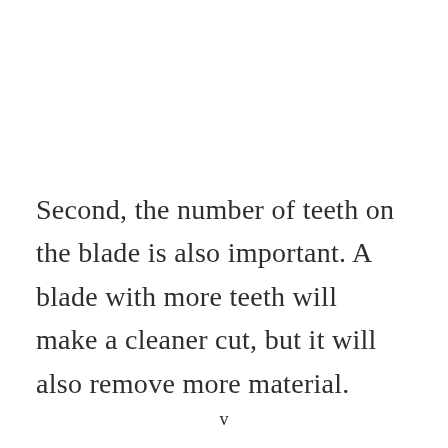Second, the number of teeth on the blade is also important. A blade with more teeth will make a cleaner cut, but it will also remove more material.
v